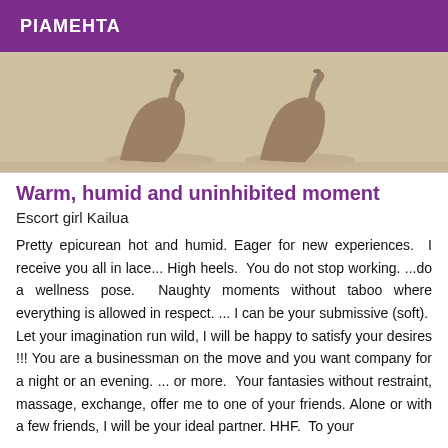PIAMEHTA
[Figure (photo): Close-up photo showing high heels / stiletto shoes on a light beige/cream background]
Warm, humid and uninhibited moment
Escort girl Kailua
Pretty epicurean hot and humid. Eager for new experiences.  I receive you all in lace... High heels.  You do not stop working. ...do a wellness pose.  Naughty moments without taboo where everything is allowed in respect. ... I can be your submissive (soft).  Let your imagination run wild, I will be happy to satisfy your desires !!! You are a businessman on the move and you want company for a night or an evening. ... or more.  Your fantasies without restraint, massage, exchange, offer me to one of your friends. Alone or with a few friends, I will be your ideal partner. HHF.  To your